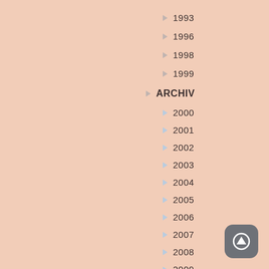1993
1996
1998
1999
ARCHIV
2000
2001
2002
2003
2004
2005
2006
2007
2008
2009